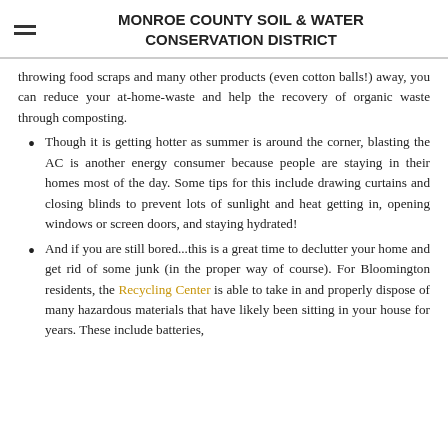MONROE COUNTY SOIL & WATER CONSERVATION DISTRICT
throwing food scraps and many other products (even cotton balls!) away, you can reduce your at-home-waste and help the recovery of organic waste through composting.
Though it is getting hotter as summer is around the corner, blasting the AC is another energy consumer because people are staying in their homes most of the day. Some tips for this include drawing curtains and closing blinds to prevent lots of sunlight and heat getting in, opening windows or screen doors, and staying hydrated!
And if you are still bored...this is a great time to declutter your home and get rid of some junk (in the proper way of course). For Bloomington residents, the Recycling Center is able to take in and properly dispose of many hazardous materials that have likely been sitting in your house for years. These include batteries,